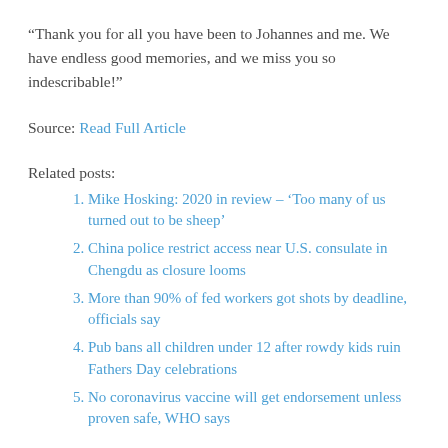“Thank you for all you have been to Johannes and me. We have endless good memories, and we miss you so indescribable!”
Source: Read Full Article
Related posts:
Mike Hosking: 2020 in review – ‘Too many of us turned out to be sheep’
China police restrict access near U.S. consulate in Chengdu as closure looms
More than 90% of fed workers got shots by deadline, officials say
Pub bans all children under 12 after rowdy kids ruin Fathers Day celebrations
No coronavirus vaccine will get endorsement unless proven safe, WHO says